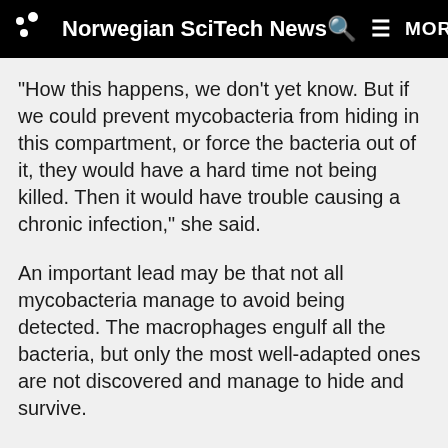Norwegian SciTech News
"How this happens, we don't yet know. But if we could prevent mycobacteria from hiding in this compartment, or force the bacteria out of it, they would have a hard time not being killed. Then it would have trouble causing a chronic infection," she said.
An important lead may be that not all mycobacteria manage to avoid being detected. The macrophages engulf all the bacteria, but only the most well-adapted ones are not discovered and manage to hide and survive.
The researchers envision future research where they would try to find out how the mycobacteria manage to establish and sustain the vesicle hideouts as they evade discovery. That would lead them on this path to develop...